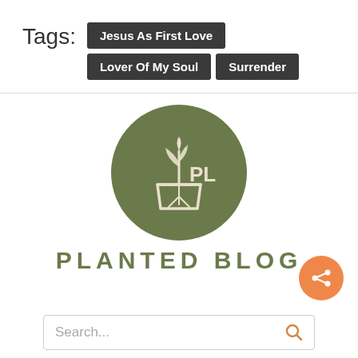Tags: Jesus As First Love  Lover Of My Soul  Surrender
[Figure (logo): Planted Blog logo — olive green circle with a plant-in-pot icon and 'PL' text, with 'PLANTED BLOG' lettering below]
Search...